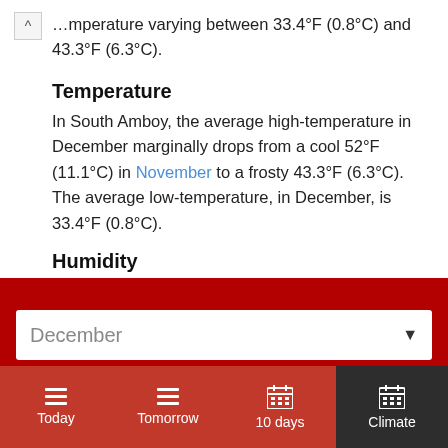temperature varying between 33.4°F (0.8°C) and 43.3°F (6.3°C).
Temperature
In South Amboy, the average high-temperature in December marginally drops from a cool 52°F (11.1°C) in November to a frosty 43.3°F (6.3°C). The average low-temperature, in December, is 33.4°F (0.8°C).
Humidity
December
Today
Tomorrow
10 days
Climate